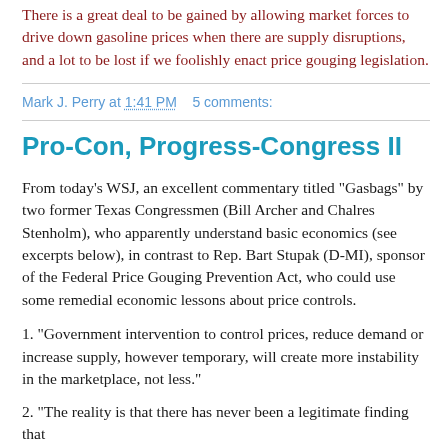There is a great deal to be gained by allowing market forces to drive down gasoline prices when there are supply disruptions, and a lot to be lost if we foolishly enact price gouging legislation.
Mark J. Perry at 1:41 PM   5 comments:
Pro-Con, Progress-Congress II
From today's WSJ, an excellent commentary titled "Gasbags" by two former Texas Congressmen (Bill Archer and Chalres Stenholm), who apparently understand basic economics (see excerpts below), in contrast to Rep. Bart Stupak (D-MI), sponsor of the Federal Price Gouging Prevention Act, who could use some remedial economic lessons about price controls.
1. "Government intervention to control prices, reduce demand or increase supply, however temporary, will create more instability in the marketplace, not less."
2. "The reality is that there has never been a legitimate finding that